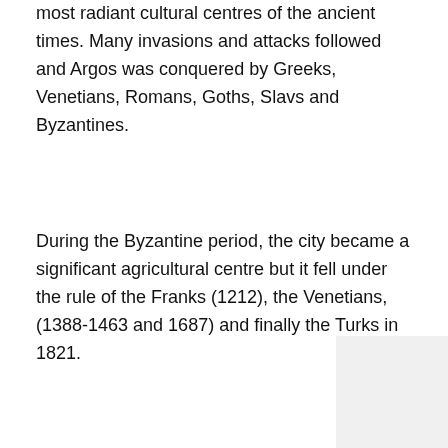most radiant cultural centres of the ancient times. Many invasions and attacks followed and Argos was conquered by Greeks, Venetians, Romans, Goths, Slavs and Byzantines.
During the Byzantine period, the city became a significant agricultural centre but it fell under the rule of the Franks (1212), the Venetians, (1388-1463 and 1687) and finally the Turks in 1821.
Today, Argos is once again in one of its most flourishing states as the agricultural, industrial, and commercial centre of Argolida. It welcomes all its visitors by generously offering them its invaluable historical inheritance: The Acropolis of Larisa, the temple of Pythean Apollo and Athena, the Mycenean graveyard of Deirada, the “Virgin of the Rock” (built on the ancient temple of Hera Akrea), the 20,000 seat ancient theatre of Nympheum where the 4th International Assembly took place, the Roman baths, the Ancient Agora, and the temple of Aphrodite.